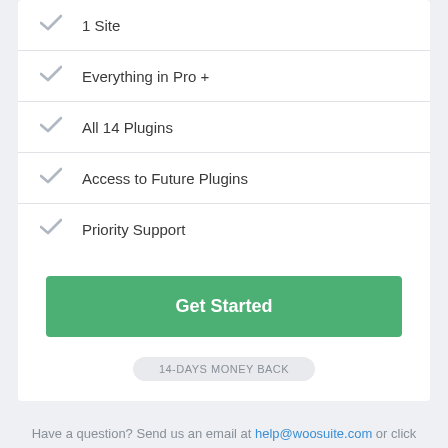1 Site
Everything in Pro +
All 14 Plugins
Access to Future Plugins
Priority Support
Get Started
14-DAYS MONEY BACK
Have a question? Send us an email at help@woosuite.com or click